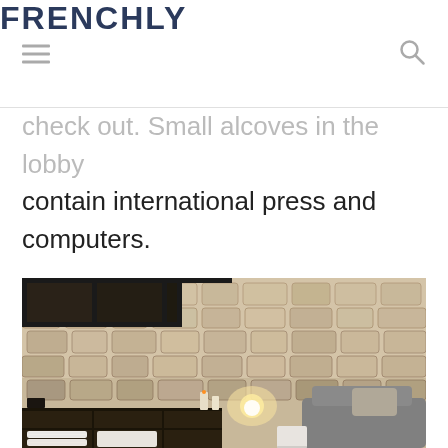FRENCHLY
check out. Small alcoves in the lobby contain international press and computers.
[Figure (photo): Interior of a Parisian hotel or spa with exposed stone vaulted ceiling, modern shelving with folded white towels, candles, a glowing lamp, and a comfortable armchair in the foreground.]